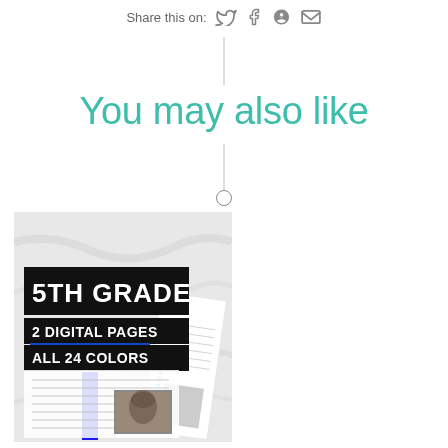Share this on:  🐦  f  ⊕  ✉
You may also like
[Figure (illustration): Product thumbnail showing a 5TH GRADE educational worksheet with text: 5TH GRADE, 2 DIGITAL PAGES, ALL 24 COLORS, featuring a blue accent bar, lined writing pages, and a historical photo, with a rotated label reading 5TH GRADE on the side]